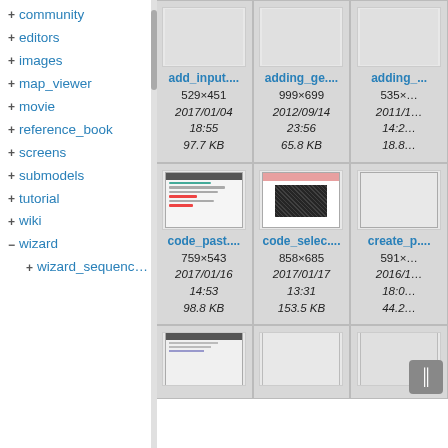+ community
+ editors
+ images
+ map_viewer
+ movie
+ reference_book
+ screens
+ submodels
+ tutorial
+ wiki
- wizard
+ wizard_sequenc…
[Figure (screenshot): Thumbnail: add_input... 529×451, 2017/01/04 18:55, 97.7 KB]
[Figure (screenshot): Thumbnail: adding_ge... 999×699, 2012/09/14 23:56, 65.8 KB]
[Figure (screenshot): Thumbnail: adding_... 535×?, 2011/1? 14:2?, 18.8...]
[Figure (screenshot): Thumbnail: code_past... 759×543, 2017/01/16 14:53, 98.8 KB]
[Figure (screenshot): Thumbnail: code_selec... 858×685, 2017/01/17 13:31, 153.5 KB]
[Figure (screenshot): Thumbnail: create_p... 591×?, 2016/1? 18:0?, 44.2...]
[Figure (screenshot): Thumbnail row 3, col 1 (partial)]
[Figure (screenshot): Thumbnail row 3, col 2 (partial)]
[Figure (screenshot): Thumbnail row 3, col 3 (partial)]